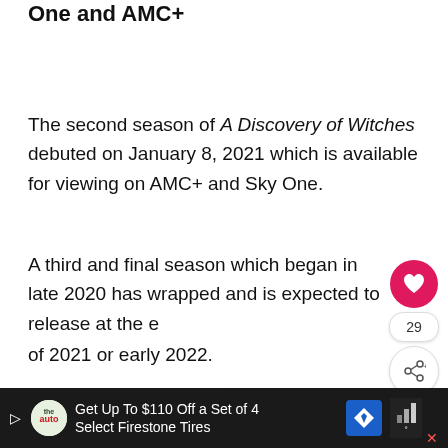One and AMC+
The second season of A Discovery of Witches debuted on January 8, 2021 which is available for viewing on AMC+ and Sky One.
A third and final season which began in late 2020 has wrapped and is expected to release at the end of 2021 or early 2022.
At Oxford's Bodleian Library, young scholar Diana Bishop unwittingly calls up a bewitched alchemical manuscript in the course of her research. She's a
[Figure (infographic): Social media like/share widget with heart icon (29 likes) and share button]
[Figure (infographic): WHAT'S NEXT promo widget for Passionflix Movies List with Romance Books on Passionflix circle logo]
[Figure (infographic): Advertisement bar: Get Up To $110 Off a Set of 4 Select Firestone Tires, with The Auto logo, blue navigation arrow, and TV/bars icon]